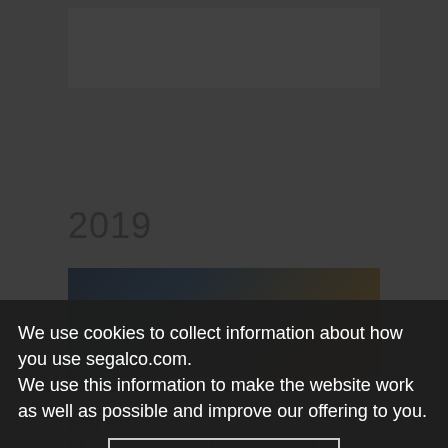2019
[Figure (photo): Background photo strip showing people celebrating]
November 11, 2019
Performance Management in the 21st
We use cookies to collect information about how you use segalco.com. We use this information to make the website work as well as possible and improve our offering to you.
✕ Close